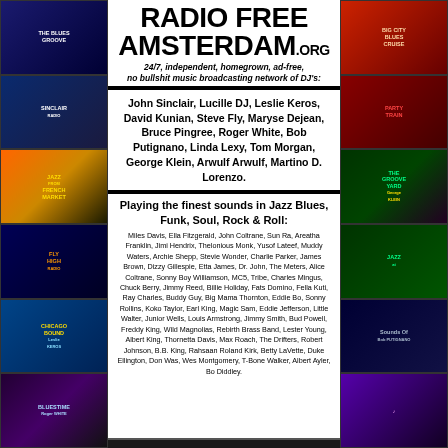RADIO FREE AMSTERDAM.ORG
24/7, independent, homegrown, ad-free, no bullshit music broadcasting network of DJ's:
John Sinclair, Lucille DJ, Leslie Keros, David Kunian, Steve Fly, Maryse Dejean, Bruce Pingree, Roger White, Bob Putignano, Linda Lexy, Tom Morgan, George Klein, Arwulf Arwulf, Martino D. Lorenzo.
Playing the finest sounds in Jazz Blues, Funk, Soul, Rock & Roll:
Miles Davis, Ella Fitzgerald, John Coltrane, Sun Ra, Areatha Franklin, Jimi Hendrix, Thelonious Monk, Yusof Lateef, Muddy Waters, Archie Shepp, Stevie Wonder, Charlie Parker, James Brown, Dizzy Gillespie, Etta James, Dr. John, The Meters, Alice Coltrane, Sonny Boy Williamson, MC5, Tribe, Charles Mingus, Chuck Berry, Jimmy Reed, Billie Holiday, Fats Domino, Fella Kuti, Ray Charles, Buddy Guy, Big Mama Thornton, Eddie Bo, Sonny Rollins, Koko Taylor, Earl King, Magic Sam, Eddie Jefferson, Little Walter, Junior Wells, Louis Armstrong, Jimmy Smith, Bud Powell, Freddy King, Wild Magnolias, Rebirth Brass Band, Lester Young, Albert King, Thornetta Davis, Max Roach, The Drifters, Robert Johnson, B.B. King, Rahsaan Roland Kirk, Betty LaVette, Duke Ellington, Don Was, Wes Montgomery, T-Bone Walker, Albert Ayler, Bo Diddley.